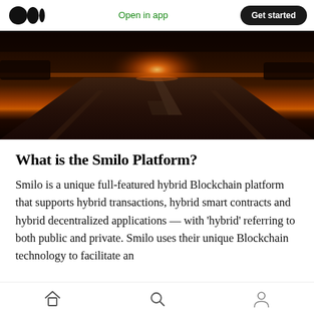Medium — Open in app   Get started
[Figure (photo): A deserted road stretching into the horizon at sunset, with a warm orange glow from the sun on the horizon, dark skies above, and lane markings visible on the asphalt.]
What is the Smilo Platform?
Smilo is a unique full-featured hybrid Blockchain platform that supports hybrid transactions, hybrid smart contracts and hybrid decentralized applications — with ‘hybrid’ referring to both public and private. Smilo uses their unique Blockchain technology to facilitate an alternative system for decentralized...
Home  Search  Profile